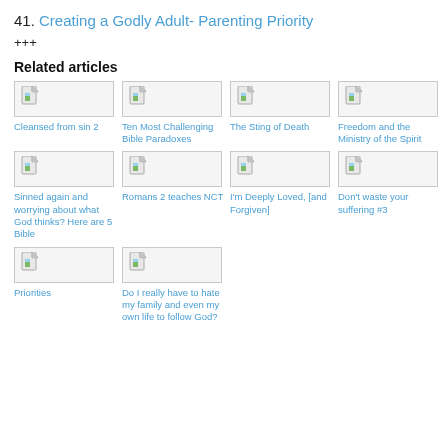41. Creating a Godly Adult- Parenting Priority
+++
Related articles
[Figure (other): Thumbnail image placeholder for article: Cleansed from sin 2]
Cleansed from sin 2
[Figure (other): Thumbnail image placeholder for article: Ten Most Challenging Bible Paradoxes]
Ten Most Challenging Bible Paradoxes
[Figure (other): Thumbnail image placeholder for article: The Sting of Death]
The Sting of Death
[Figure (other): Thumbnail image placeholder for article: Freedom and the Ministry of the Spirit]
Freedom and the Ministry of the Spirit
[Figure (other): Thumbnail image placeholder for article: Sinned again and worrying about what God thinks? Here are 5 Bible]
Sinned again and worrying about what God thinks? Here are 5 Bible
[Figure (other): Thumbnail image placeholder for article: Romans 2 teaches NCT]
Romans 2 teaches NCT
[Figure (other): Thumbnail image placeholder for article: I'm Deeply Loved, [and Forgiven]]
I'm Deeply Loved, [and Forgiven]
[Figure (other): Thumbnail image placeholder for article: Don't waste your suffering #3]
Don't waste your suffering #3
[Figure (other): Thumbnail image placeholder for article: Priorities]
Priorities
[Figure (other): Thumbnail image placeholder for article: Do I really have to hate my family and even my own life to follow God?]
Do I really have to hate my family and even my own life to follow God?